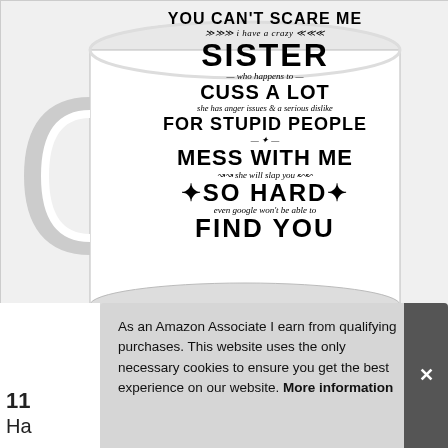[Figure (photo): A white ceramic coffee mug with black printed text reading: YOU CAN'T SCARE ME i have a crazy SISTER who happens to CUSS A LOT she has anger issues & a serious dislike FOR STUPID PEOPLE MESS WITH ME she will slap you SO HARD even google won't be able to FIND YOU]
As an Amazon Associate I earn from qualifying purchases. This website uses the only necessary cookies to ensure you get the best experience on our website. More information
11
Ha